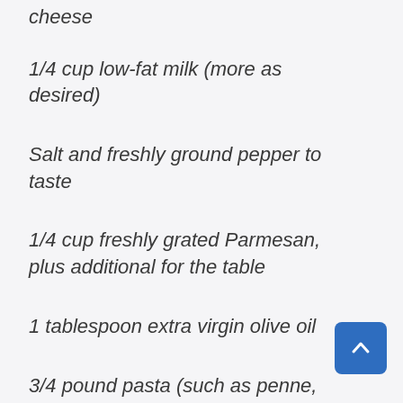cheese
1/4 cup low-fat milk (more as desired)
Salt and freshly ground pepper to taste
1/4 cup freshly grated Parmesan, plus additional for the table
1 tablespoon extra virgin olive oil
3/4 pound pasta (such as penne,